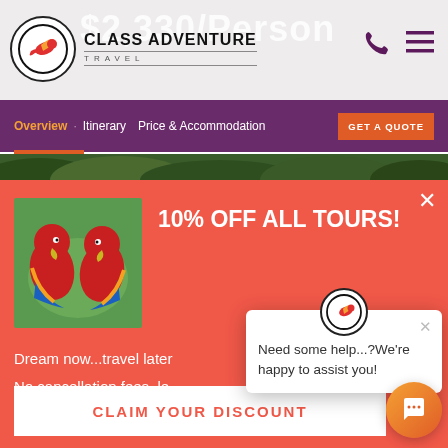Class Adventure Travel — $2,330/Person
Overview · Itinerary  Price & Accommodation
GET A QUOTE
10% OFF ALL TOURS!
[Figure (photo): Two red scarlet macaws/parrots facing each other against a green background]
Dream now...travel later
No cancellation fees, le…
**Note: Tour booked as is on website.
Need some help...?We're happy to assist you!
CLAIM YOUR DISCOUNT